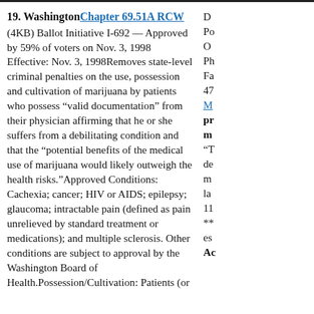19. Washington Chapter 69.51A RCW (4KB) Ballot Initiative I-692 — Approved by 59% of voters on Nov. 3, 1998 Effective: Nov. 3, 1998Removes state-level criminal penalties on the use, possession and cultivation of marijuana by patients who possess "valid documentation" from their physician affirming that he or she suffers from a debilitating condition and that the "potential benefits of the medical use of marijuana would likely outweigh the health risks."Approved Conditions: Cachexia; cancer; HIV or AIDS; epilepsy; glaucoma; intractable pain (defined as pain unrelieved by standard treatment or medications); and multiple sclerosis. Other conditions are subject to approval by the Washington Board of Health.Possession/Cultivation: Patients (or
D
Po
O
Ph
Fa
47
M
pr
m
"T
de
m
la
11
**
es
Ac